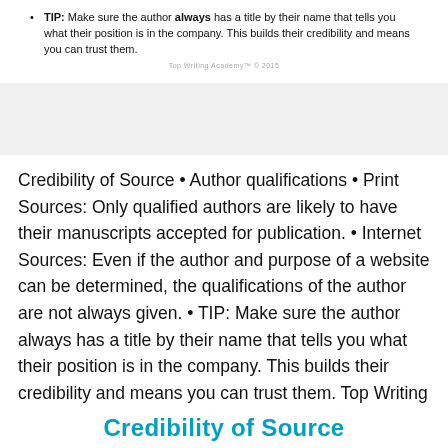TIP: Make sure the author always has a title by their name that tells you what their position is in the company. This builds their credibility and means you can trust them.
Top Writing Academy™ © 2015
Credibility of Source • Author qualifications • Print Sources: Only qualified authors are likely to have their manuscripts accepted for publication. • Internet Sources: Even if the author and purpose of a website can be determined, the qualifications of the author are not always given. • TIP: Make sure the author always has a title by their name that tells you what their position is in the company. This builds their credibility and means you can trust them. Top Writing Academy™ © 2015
Credibility of Source